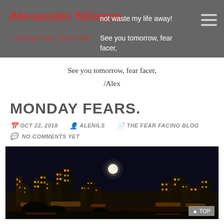Alexander Nilsson – Facing Fears, Every Day | I don't want to waste my life away! | See you tomorrow, fear facer,
See you tomorrow, fear facer,

/Alex
MONDAY FEARS.
OCT 22, 2018  ALENILS  THE FEAR FACING BLOG  NO COMMENTS YET
[Figure (photo): Night cityscape photograph with a full moon visible in a dark sky above illuminated buildings and city lights.]